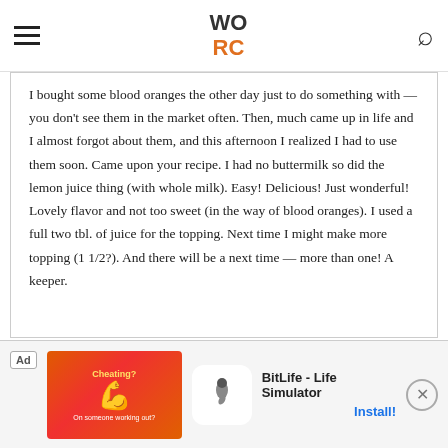WORC
I bought some blood oranges the other day just to do something with — you don't see them in the market often. Then, much came up in life and I almost forgot about them, and this afternoon I realized I had to use them soon. Came upon your recipe. I had no buttermilk so did the lemon juice thing (with whole milk). Easy! Delicious! Just wonderful! Lovely flavor and not too sweet (in the way of blood oranges). I used a full two tbl. of juice for the topping. Next time I might make more topping (1 1/2?). And there will be a next time — more than one! A keeper.
[Figure (infographic): Advertisement banner for BitLife - Life Simulator app with red background image showing a muscle arm icon and Cheating? text, BitLife logo, app name, and Install! button]